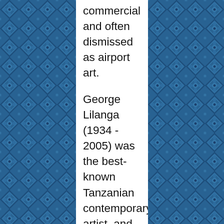[Figure (illustration): Decorative blue patterned background on left and right sides with geometric/floral motifs in shades of blue and dark navy]
commercial and often dismissed as airport art.

George Lilanga (1934 - 2005) was the best-known Tanzanian contemporary artist, and one of the most celebrated artists on the continent. He was not a Tinga Tinga artist, but worked alongside them in Dar es Salaam and adopted some of their techniques in his work. Lilanga was a member of the Makonde tribe from southern Tanzania and Mozambique who became renowned in the 1960's for their wildly fantastic ebony “shetani” (devil) sculptures. Lilanga began carving ebony in a refugee camp on the border with Mozambique. In 1971 he followed his uncle to Dar es Salaam, and an art center